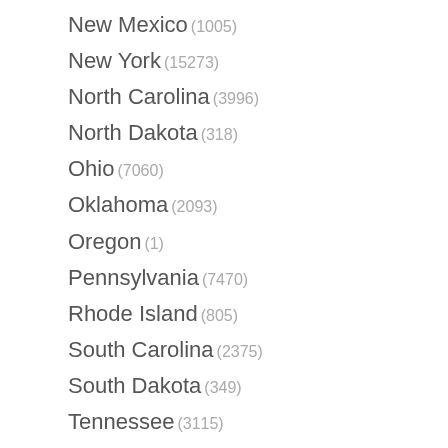New Mexico (1005)
New York (15273)
North Carolina (3996)
North Dakota (318)
Ohio (7060)
Oklahoma (2093)
Oregon (1)
Pennsylvania (7470)
Rhode Island (805)
South Carolina (2375)
South Dakota (349)
Tennessee (3115)
Texas (12888)
Utah (1037)
Vermont (431)
Virginia (3551)
Washington (6)